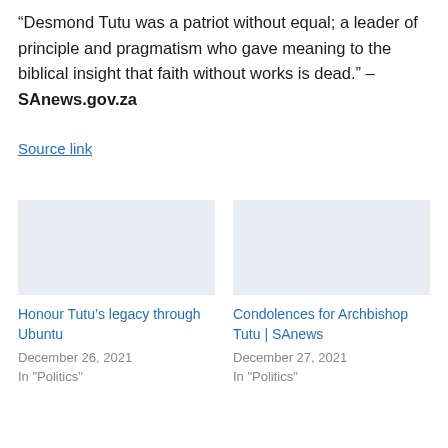“Desmond Tutu was a patriot without equal; a leader of principle and pragmatism who gave meaning to the biblical insight that faith without works is dead.” –SAnews.gov.za
Source link
[Figure (other): Placeholder image for related article: Honour Tutu’s legacy through Ubuntu]
Honour Tutu’s legacy through Ubuntu
December 26, 2021
In "Politics"
[Figure (other): Placeholder image for related article: Condolences for Archbishop Tutu | SAnews]
Condolences for Archbishop Tutu | SAnews
December 27, 2021
In "Politics"